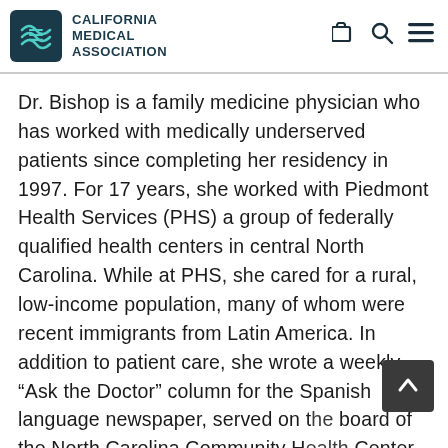CALIFORNIA MEDICAL ASSOCIATION
Dr. Bishop is a family medicine physician who has worked with medically underserved patients since completing her residency in 1997. For 17 years, she worked with Piedmont Health Services (PHS) a group of federally qualified health centers in central North Carolina. While at PHS, she cared for a rural, low-income population, many of whom were recent immigrants from Latin America. In addition to patient care, she wrote a weekly “Ask the Doctor” column for the Spanish language newspaper, served on the board of the North Carolina Community Health Center Association and conducted numerous quality improvement initiatives.